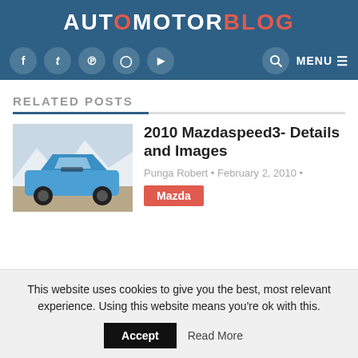AUTOMOTORBLOG
RELATED POSTS
[Figure (photo): Blue Mazdaspeed3 car photographed outdoors with mountains in background]
2010 Mazdaspeed3- Details and Images
Punga Robert • February 2, 2010 •
Mazda
This website uses cookies to give you the best, most relevant experience. Using this website means you're ok with this.
Accept   Read More